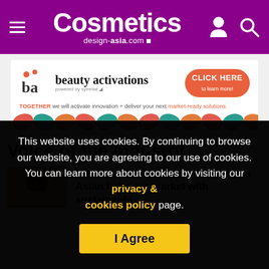Cosmetics design-asia.com
[Figure (advertisement): Beauty activations advertisement banner by Symrise with decorative leaf pattern]
Voice of the Industry
Bio-based biotin: Biosynthia targets Asian hair care market with sustainably
This website uses cookies. By continuing to browse our website, you are agreeing to our use of cookies. You can learn more about cookies by visiting our privacy & cookies policy page.